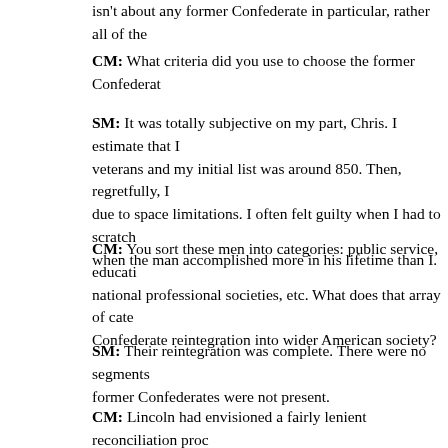isn't about any former Confederate in particular, rather all of the
CM: What criteria did you use to choose the former Confederat
SM: It was totally subjective on my part, Chris. I estimate that I veterans and my initial list was around 850. Then, regretfully, I due to space limitations. I often felt guilty when I had to scratch when the man accomplished more in his lifetime than I.
CM: You sort these men into categories: public service, educati national professional societies, etc. What does that array of cate Confederate reintegration into wider American society?
SM: Their reintegration was complete. There were no segments former Confederates were not present.
CM: Lincoln had envisioned a fairly lenient reconciliation proc Radical Republicans ended up imposing a pretty harsh reconstru immediately to reintegration, some of the Confederated